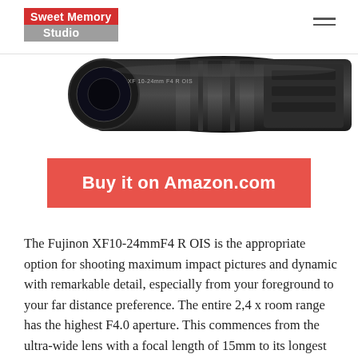Sweet Memory Studio
[Figure (photo): A black Fujinon camera lens photographed from the side at an angle, showing the barrel and focus ring details against a white background.]
Buy it on Amazon.com
The Fujinon XF10-24mmF4 R OIS is the appropriate option for shooting maximum impact pictures and dynamic with remarkable detail, especially from your foreground to your far distance preference. The entire 2,4 x room range has the highest F4.0 aperture. This commences from the ultra-wide lens with a focal length of 15mm to its longest focal length